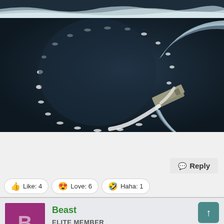[Figure (photo): Aerial view top portion - coastline or ocean with dark water and white foam/waves at top edge]
[Figure (photo): Aerial photograph of an aircraft carrier making a large circular turn in the ocean, leaving a white wake trail forming an almost complete circle]
Reply
Like: 4   Love: 6   Haha: 1
Beast
ELITE MEMBER